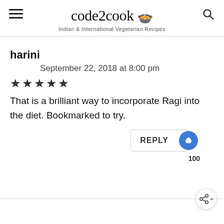code2cook 🍲 Indian & International Vegetarian Recipes
harini
September 22, 2018 at 8:00 pm
★★★★★
That is a brilliant way to incorporate Ragi into the diet. Bookmarked to try.
REPLY